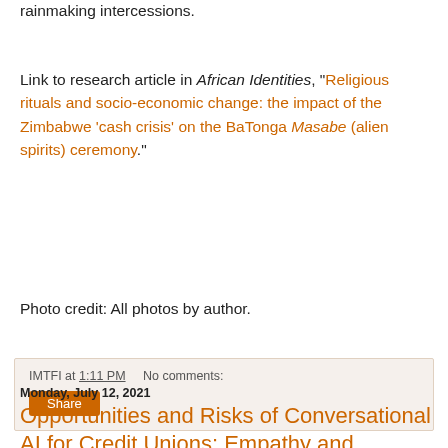rainmaking intercessions.
Link to research article in African Identities, "Religious rituals and socio-economic change: the impact of the Zimbabwe 'cash crisis' on the BaTonga Masabe (alien spirits) ceremony."
Photo credit: All photos by author.
IMTFI at 1:11 PM   No comments:
Share
Monday, July 12, 2021
Opportunities and Risks of Conversational AI for Credit Unions: Empathy and Intimacy in Automated